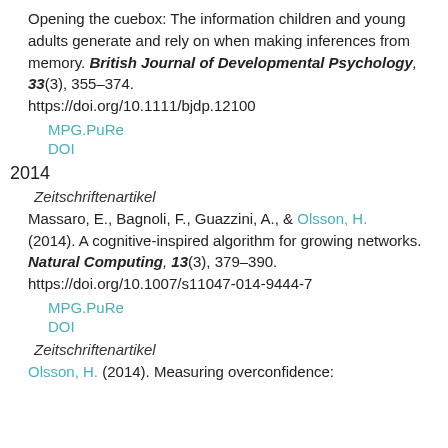Opening the cuebox: The information children and young adults generate and rely on when making inferences from memory. British Journal of Developmental Psychology, 33(3), 355–374. https://doi.org/10.1111/bjdp.12100
MPG.PuRe
DOI
2014
Zeitschriftenartikel
Massaro, E., Bagnoli, F., Guazzini, A., & Olsson, H. (2014). A cognitive-inspired algorithm for growing networks. Natural Computing, 13(3), 379–390. https://doi.org/10.1007/s11047-014-9444-7
MPG.PuRe
DOI
Zeitschriftenartikel
Olsson, H. (2014). Measuring overconfidence: